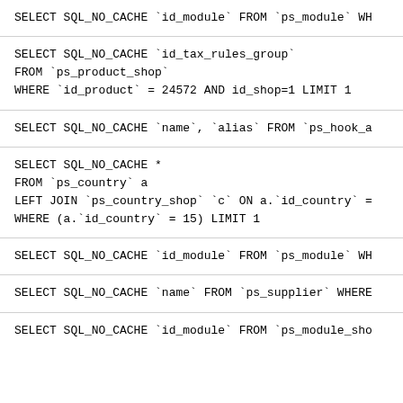SELECT SQL_NO_CACHE `id_module` FROM `ps_module` WH
SELECT SQL_NO_CACHE `id_tax_rules_group`
FROM `ps_product_shop`
WHERE `id_product` = 24572 AND id_shop=1 LIMIT 1
SELECT SQL_NO_CACHE `name`, `alias` FROM `ps_hook_a
SELECT SQL_NO_CACHE *
FROM `ps_country` a
LEFT JOIN `ps_country_shop` `c` ON a.`id_country` =
WHERE (a.`id_country` = 15) LIMIT 1
SELECT SQL_NO_CACHE `id_module` FROM `ps_module` WH
SELECT SQL_NO_CACHE `name` FROM `ps_supplier` WHERE
SELECT SQL_NO_CACHE `id_module` FROM `ps_module_sho